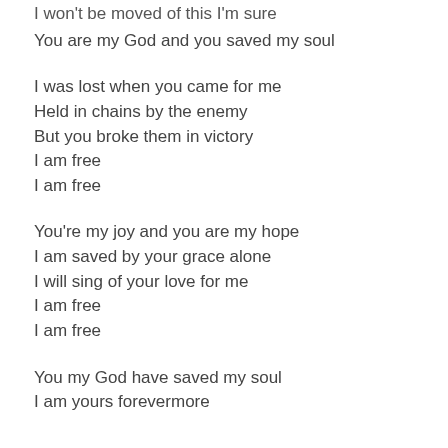I won't be moved of this I'm sure
You are my God and you saved my soul
I was lost when you came for me
Held in chains by the enemy
But you broke them in victory
I am free
I am free
You're my joy and you are my hope
I am saved by your grace alone
I will sing of your love for me
I am free
I am free
You my God have saved my soul
I am yours forevermore